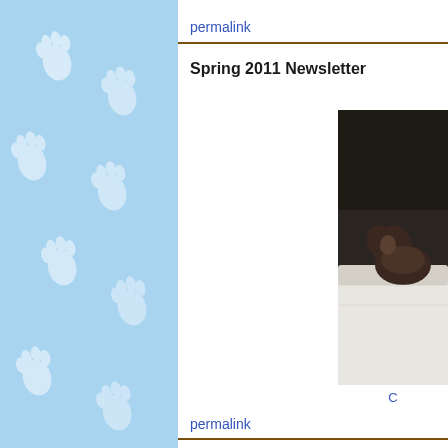[Figure (illustration): Light blue background panel with repeating white hand/paw print watermark pattern arranged in diagonal rows]
permalink
Spring 2011 Newsletter
[Figure (photo): Partial photo of a cat or animal lying on white bedding/blanket, cropped at right edge of page]
C
permalink